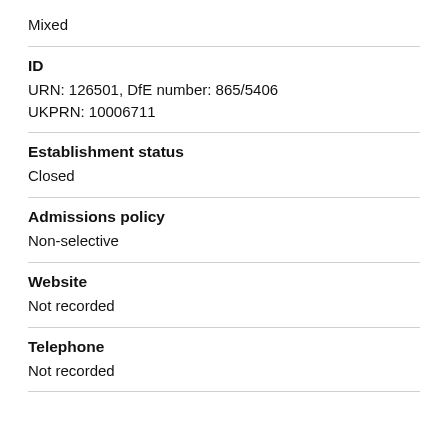Mixed
ID
URN: 126501, DfE number: 865/5406
UKPRN: 10006711
Establishment status
Closed
Admissions policy
Non-selective
Website
Not recorded
Telephone
Not recorded